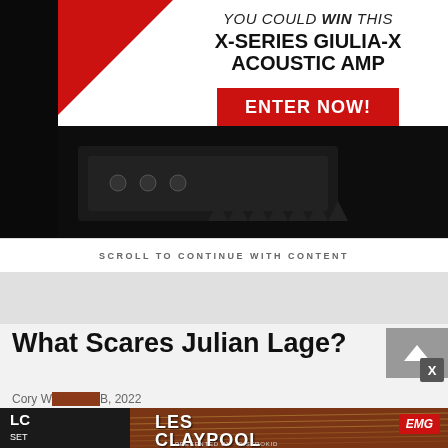[Figure (advertisement): Advertisement for X-Series Giulia-X Acoustic Amp with red triangle graphic, product image, and 'Enter Now!' button on red background]
SCROLL TO CONTINUE WITH CONTENT
What Scares Julian Lage?
Cory W… B, 2022
[Figure (advertisement): Les Claypool LC SET advertisement with EMG logo, dark background with guitar strings, 'Presented by DistroKid']